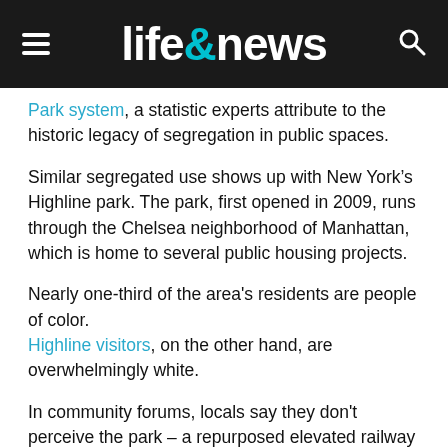life&news
Park system, a statistic experts attribute to the historic legacy of segregation in public spaces.
Similar segregated use shows up with New York’s Highline park. The park, first opened in 2009, runs through the Chelsea neighborhood of Manhattan, which is home to several public housing projects.
Nearly one-third of the area's residents are people of color. Highline visitors, on the other hand, are overwhelmingly white.
In community forums, locals say they don't perceive the park – a repurposed elevated railway – as having been built for them. If they don't see people who look like them using it, they may stay away.